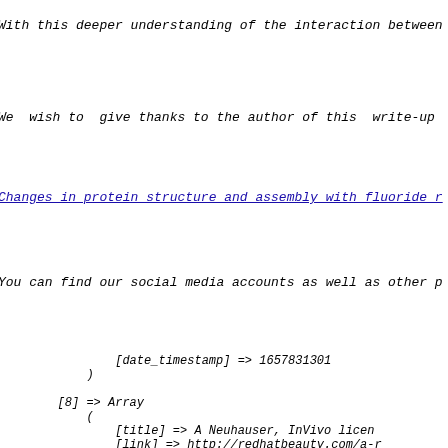With this deeper understanding of the interaction between
We  wish to  give thanks to the author of this  write-up
Changes in protein structure and assembly with fluoride r
You can find our social media accounts as well as other p
[date_timestamp] => 1657831301
            )

        [8] => Array
            (
                [title] => A Neuhauser, InVivo licen
                [link] => http://redhatbeauty.com/a-r
                [dc] => Array
                    (
                        [creator] => Beatriz Deitz